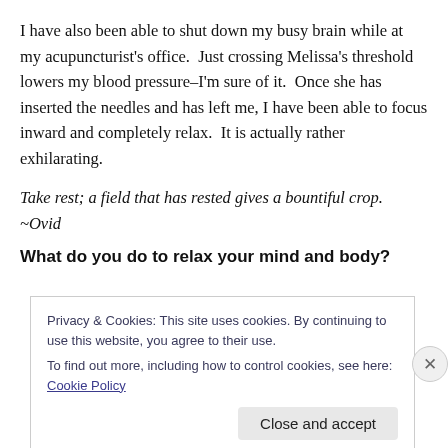I have also been able to shut down my busy brain while at my acupuncturist's office.  Just crossing Melissa's threshold lowers my blood pressure–I'm sure of it.  Once she has inserted the needles and has left me, I have been able to focus inward and completely relax.  It is actually rather exhilarating.
Take rest; a field that has rested gives a bountiful crop. ~Ovid
What do you do to relax your mind and body?
Privacy & Cookies: This site uses cookies. By continuing to use this website, you agree to their use.
To find out more, including how to control cookies, see here: Cookie Policy